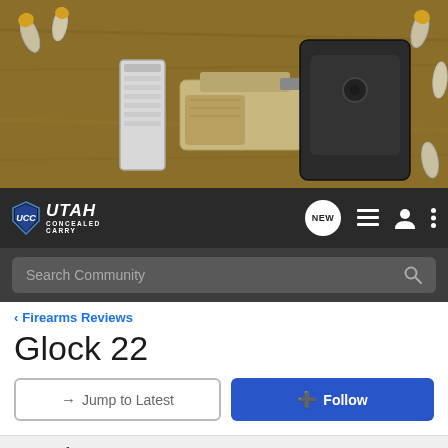[Figure (photo): Hero banner image showing firearms accessories including a pistol magazine, handgun, holster, and bullets on a wooden surface]
[Figure (logo): Utah Concealed Carry logo with shield icon and navigation icons (NEW chat bubble, list, user, dots menu)]
[Figure (screenshot): Search bar with text 'Search Community' and magnifying glass icon]
< Firearms Reviews
Glock 22
→ Jump to Latest
+ Follow
1 - 20 of 20 Posts
Thomas · Premium Member
Joined Apr 21, 2004 · 402 Posts